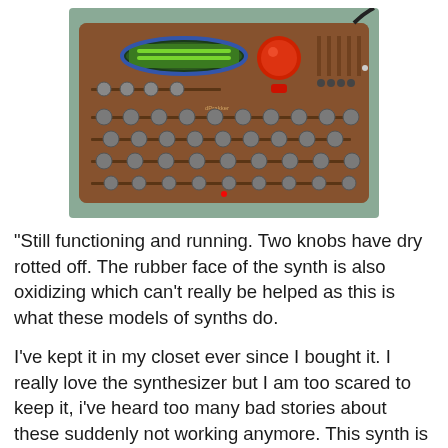[Figure (photo): A vintage synthesizer with a brown/copper-colored rubber face panel, multiple rows of gray knobs and sliders, a green LCD display at top left, a red dial/knob at top center-right, and various small controls. The unit is resting on a textured surface.]
“Still functioning and running. Two knobs have dry rotted off. The rubber face of the synth is also oxidizing which can’t really be helped as this is what these models of synths do.
I’ve kept it in my closet ever since I bought it. I really love the synthesizer but I am too scared to keep it, i’ve heard too many bad stories about these suddenly not working anymore. This synth is so amazing it’s